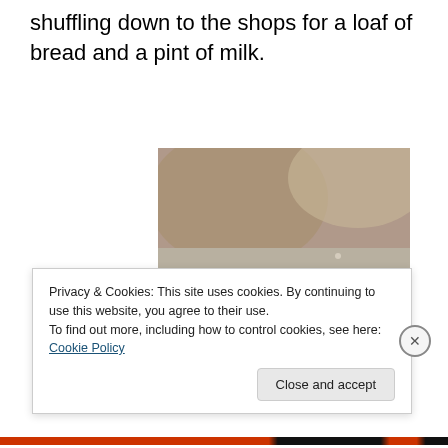shuffling down to the shops for a loaf of bread and a pint of milk.
[Figure (photo): A small brown bird (dunnock/hedge sparrow) standing on a granite rock surface, with a blurred rock background.]
Privacy & Cookies: This site uses cookies. By continuing to use this website, you agree to their use.
To find out more, including how to control cookies, see here: Cookie Policy